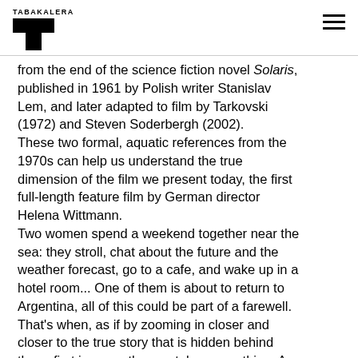TABAKALERA
from the end of the science fiction novel Solaris, published in 1961 by Polish writer Stanislav Lem, and later adapted to film by Tarkovski (1972) and Steven Soderbergh (2002). These two formal, aquatic references from the 1970s can help us understand the true dimension of the film we present today, the first full-length feature film by German director Helena Wittmann. Two women spend a weekend together near the sea: they stroll, chat about the future and the weather forecast, go to a cafe, and wake up in a hotel room... One of them is about to return to Argentina, all of this could be part of a farewell. That's when, as if by zooming in closer and closer to the true story that is hidden behind these first images, the sea takes everything. A